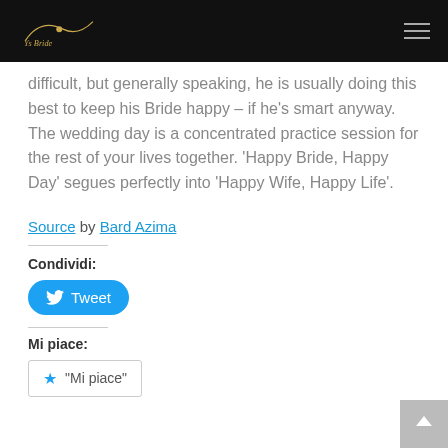Logo / Navigation header
difficult, but generally speaking, he is usually doing this best to keep his Bride happy – if he's smart anyway. The wedding day is a concentrated practice session for the rest of your lives together. 'Happy Bride, Happy Day' segues perfectly into 'Happy Wife, Happy Life'.
Source by Bard Azima
Condividi:
Tweet
Mi piace:
"Mi piace"